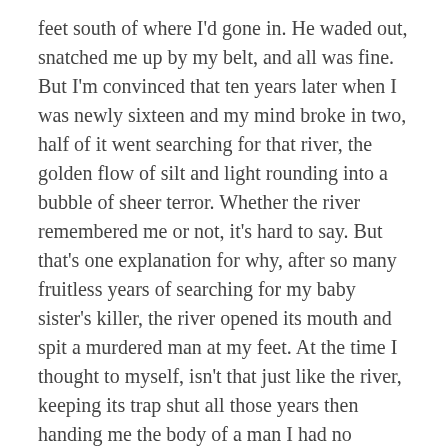feet south of where I'd gone in. He waded out, snatched me up by my belt, and all was fine. But I'm convinced that ten years later when I was newly sixteen and my mind broke in two, half of it went searching for that river, the golden flow of silt and light rounding into a bubble of sheer terror. Whether the river remembered me or not, it's hard to say. But that's one explanation for why, after so many fruitless years of searching for my baby sister's killer, the river opened its mouth and spit a murdered man at my feet. At the time I thought to myself, isn't that just like the river, keeping its trap shut all those years then handing me the body of a man I had no quarrel with? Should've trusted the river.
Share this:
Twitter
Facebook
LinkedIn